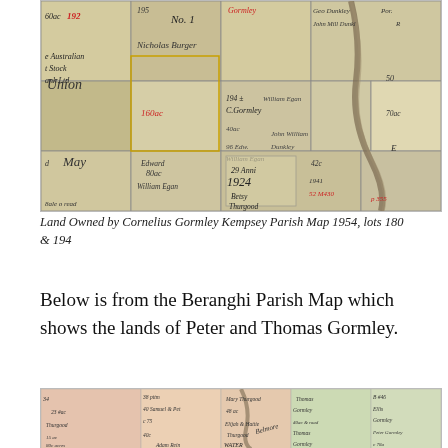[Figure (map): Scanned historical parish map showing land ownership near Kempsey, with handwritten lot numbers, names including C. Gormley, William Egan, Nicholas Burger, Edward William Egan, Betsy Thurgood, John William Dunkley, and others. Lots 180 and 194 visible. Dated 1924 in one section.]
Land Owned by Cornelius Gormley Kempsey Parish Map 1954, lots 180 & 194
Below is from the Beranghi Parish Map which shows the lands of Peter and Thomas Gormley.
[Figure (map): Scanned historical Beranghi Parish Map showing land lots of Peter Gormley, Thomas Gormley, and other landowners. Handwritten names and lot numbers visible. Map has pinkish and greenish coloring indicating different land parcels.]